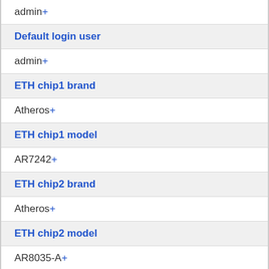admin+
Default login user
admin+
ETH chip1 brand
Atheros+
ETH chip1 model
AR7242+
ETH chip2 brand
Atheros+
ETH chip2 model
AR8035-A+
Embedded system type
bridge+